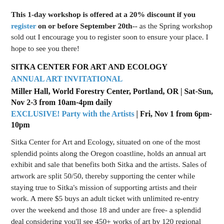This 1-day workshop is offered at a 20% discount if you register on or before September 20th-- as the Spring workshop sold out I encourage you to register soon to ensure your place. I hope to see you there!
SITKA CENTER FOR ART AND ECOLOGY
ANNUAL ART INVITATIONAL
Miller Hall, World Forestry Center, Portland, OR | Sat-Sun, Nov 2-3 from 10am-4pm daily
EXCLUSIVE! Party with the Artists | Fri, Nov 1 from 6pm-10pm
Sitka Center for Art and Ecology, situated on one of the most splendid points along the Oregon coastline, holds an annual art exhibit and sale that benefits both Sitka and the artists. Sales of artwork are split 50/50, thereby supporting the center while staying true to Sitka's mission of supporting artists and their work. A mere $5 buys an adult ticket with unlimited re-entry over the weekend and those 18 and under are free- a splendid deal considering you'll see 450+ works of art by 120 regional artists.
For those interested in meeting the many artists involved, an exclusive